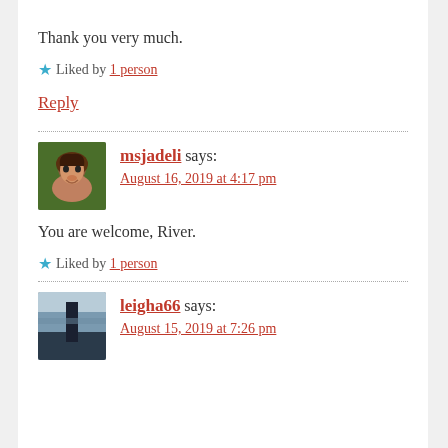Thank you very much.
Liked by 1 person
Reply
msjadeli says:
August 16, 2019 at 4:17 pm
You are welcome, River.
Liked by 1 person
leigha66 says:
August 15, 2019 at 7:26 pm